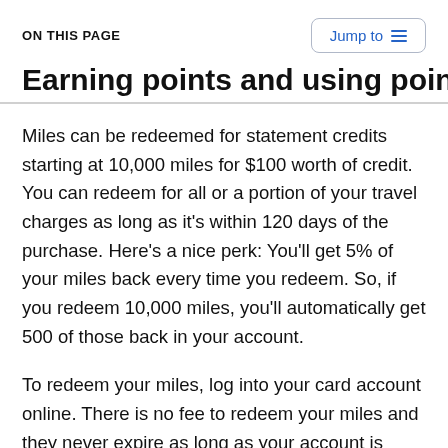ON THIS PAGE
Earning points and using points
Miles can be redeemed for statement credits starting at 10,000 miles for $100 worth of credit. You can redeem for all or a portion of your travel charges as long as it's within 120 days of the purchase. Here's a nice perk: You'll get 5% of your miles back every time you redeem. So, if you redeem 10,000 miles, you'll automatically get 500 of those back in your account.
To redeem your miles, log into your card account online. There is no fee to redeem your miles and they never expire as long as your account is open and in good standing.